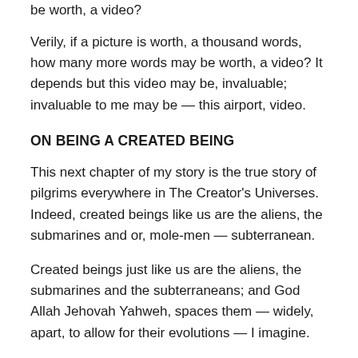be worth, a video?
Verily, if a picture is worth, a thousand words, how many more words may be worth, a video? It depends but this video may be, invaluable; invaluable to me may be — this airport, video.
ON BEING A CREATED BEING
This next chapter of my story is the true story of pilgrims everywhere in The Creator's Universes. Indeed, created beings like us are the aliens, the submarines and or, mole-men — subterranean.
Created beings just like us are the aliens, the submarines and the subterraneans; and God Allah Jehovah Yahweh, spaces them — widely, apart, to allow for their evolutions — I imagine.